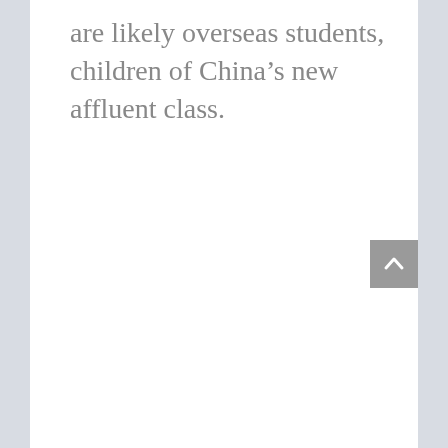are likely overseas students, children of China's new affluent class.